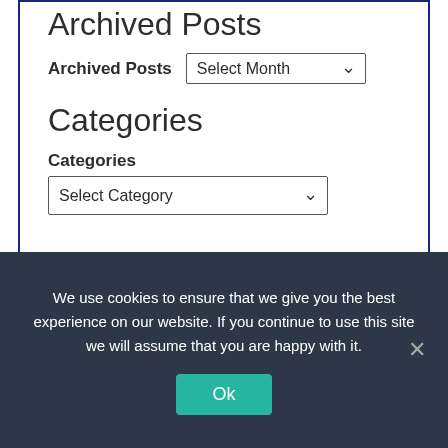Archived Posts
Archived Posts  Select Month
Categories
Categories
Select Category
Quality Accreditation
We use cookies to ensure that we give you the best experience on our website. If you continue to use this site we will assume that you are happy with it.